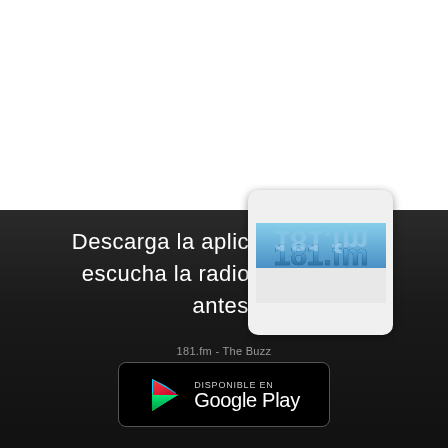Descarga la aplica  is y escucha la radio  ca antes.
[Figure (logo): 181.fm logo — blue 3D metallic text reading '181.fm' on a light grey/white background rounded rectangle]
181.fm - The Buzz
[Figure (screenshot): Google Play Store download button — black rounded rectangle with 'DISPONIBLE EN Google Play' text and Play Store triangle logo]